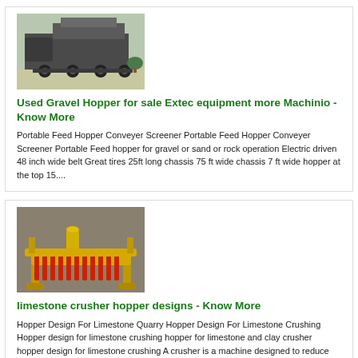[Figure (photo): Portable feed hopper conveyer screener machine on a truck chassis, outdoor setting]
Used Gravel Hopper for sale Extec equipment more Machinio - Know More
Portable Feed Hopper Conveyer Screener Portable Feed Hopper Conveyer Screener Portable Feed hopper for gravel or sand or rock operation Electric driven 48 inch wide belt Great tires 25ft long chassis 75 ft wide chassis 7 ft wide hopper at the top 15....
[Figure (photo): Yellow and red limestone crusher hopper machine, industrial equipment on ground]
limestone crusher hopper designs - Know More
Hopper Design For Limestone Quarry Hopper Design For Limestone Crushing Hopper design for limestone crushing hopper for limestone and clay crusher hopper design for limestone crushing A crusher is a machine designed to reduce